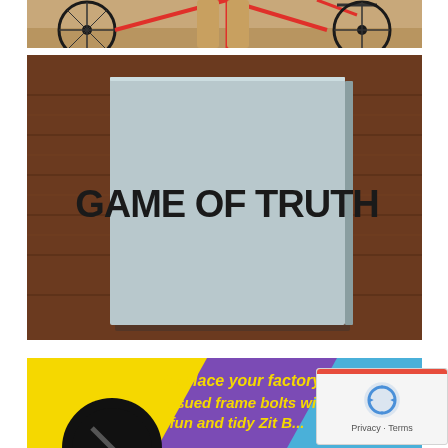[Figure (photo): Partial photo of a red bicycle with a person standing beside it on sandy/rocky ground, cropped to show only the lower portion.]
[Figure (photo): Photo of a board game box titled 'GAME OF TRUTH' in large bold black text on a light gray/blue box, sitting on a wooden floor.]
[Figure (photo): Colorful advertisement image with yellow, purple and blue sections. Text reads: 'Replace your factory issued frame bolts with fun and tidy Zit B...' (partially cut off). A reCAPTCHA widget overlays the bottom right.]